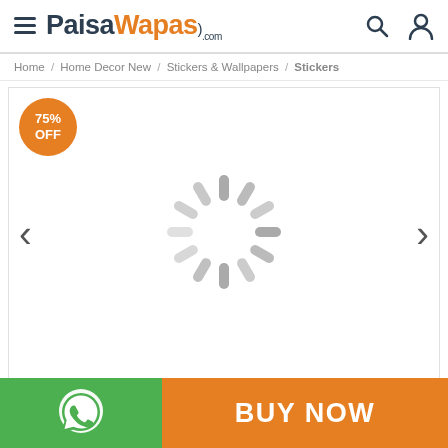[Figure (screenshot): PaisaWapas.com website header with hamburger menu, logo, search icon, and user icon]
Home / Home Decor New / Stickers & Wallpapers / Stickers
[Figure (other): Product image viewer area with 75% OFF badge, left/right navigation arrows, and a loading spinner in the center]
[Figure (other): Bottom bar with green WhatsApp button section on left and orange BUY NOW button on right]